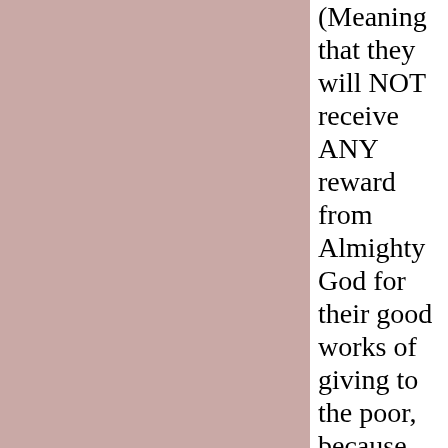[Figure (other): Large pink/mauve colored rectangular background panel on the left side of the page]
(Meaning that they will NOT receive ANY reward from Almighty God for their good works of giving to the poor, because they sought to